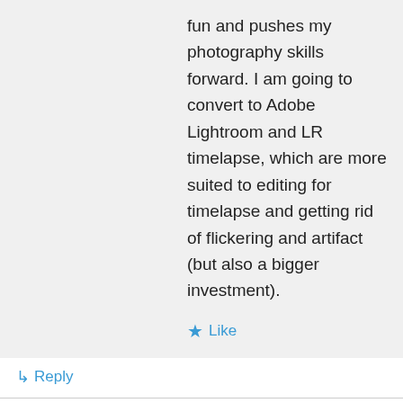fun and pushes my photography skills forward. I am going to convert to Adobe Lightroom and LR timelapse, which are more suited to editing for timelapse and getting rid of flickering and artifact (but also a bigger investment).
★ Like
↳ Reply
madisonartist.com on February 22, 2013 at 10:37 pm
A successful first try, I'd say. Love the musical pairing!
★ Like
↳ Reply